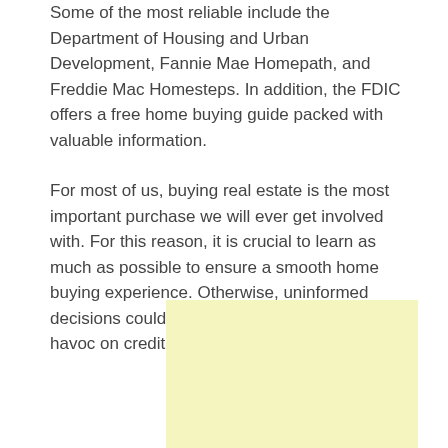Some of the most reliable include the Department of Housing and Urban Development, Fannie Mae Homepath, and Freddie Mac Homesteps. In addition, the FDIC offers a free home buying guide packed with valuable information.
For most of us, buying real estate is the most important purchase we will ever get involved with. For this reason, it is crucial to learn as much as possible to ensure a smooth home buying experience. Otherwise, uninformed decisions could result in foreclosure wreaking havoc on credit scores.
[Figure (other): Light yellow advertisement placeholder box]